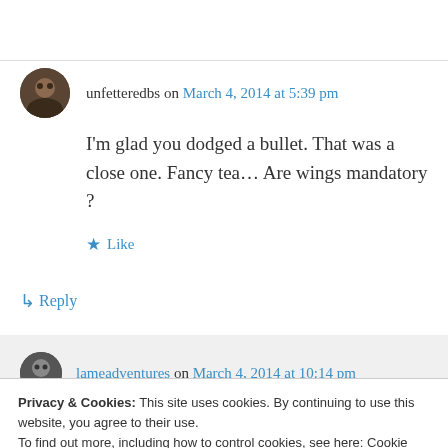unfetteredbs on March 4, 2014 at 5:39 pm
I'm glad you dodged a bullet. That was a close one. Fancy tea… Are wings mandatory ?
Like
↳ Reply
lameadventures on March 4, 2014 at 10:14 pm
Privacy & Cookies: This site uses cookies. By continuing to use this website, you agree to their use. To find out more, including how to control cookies, see here: Cookie Policy
Close and accept